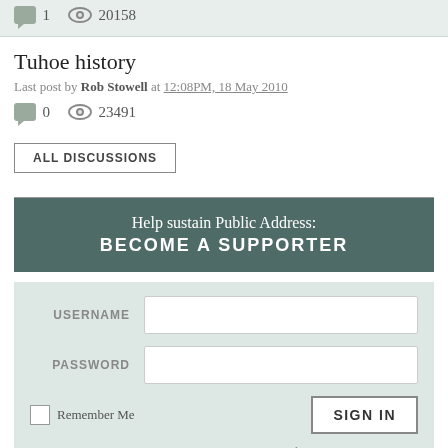1   20158
Tuhoe history
Last post by Rob Stowell at 12:08PM, 18 May 2010
0   23491
ALL DISCUSSIONS
Help sustain Public Address: BECOME A SUPPORTER
USERNAME   PASSWORD   Remember Me   SIGN IN   Sign up • Forgotten password?
BLOGS
Hard News   Up Front